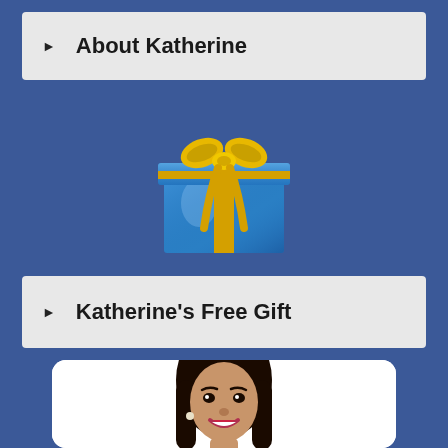▶   About Katherine
[Figure (illustration): Blue gift box with gold ribbon and bow]
▶   Katherine's Free Gift
[Figure (photo): Portrait photo of a smiling woman with long dark hair and red lipstick, on white background]